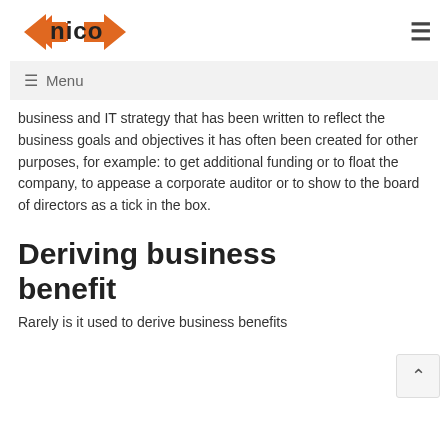nico [logo]
≡ Menu
business and IT strategy that has been written to reflect the business goals and objectives it has often been created for other purposes, for example: to get additional funding or to float the company, to appease a corporate auditor or to show to the board of directors as a tick in the box.
Deriving business benefit
Rarely is it used to derive business benefits